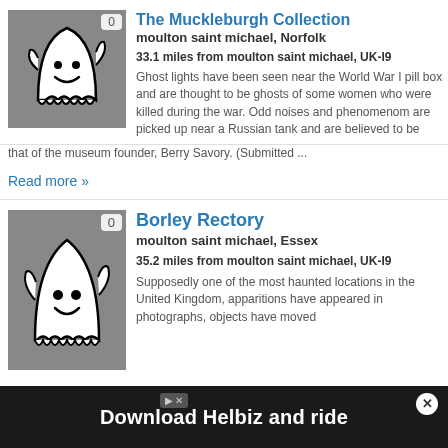[Figure (illustration): Ghost cartoon illustration on grey background with badge showing count]
The Muckleburgh Collection
moulton saint michael, Norfolk
33.1 miles from moulton saint michael, UK-I9
Ghost lights have been seen near the World War I pill box and are thought to be ghosts of some women who were killed during the war. Odd noises and phenomenom are picked up near a Russian tank and are believed to be that of the museum founder, Berry Savory. (Submitted ...
Read more »
[Figure (illustration): Ghost cartoon illustration on grey background with badge showing 0]
Borley Rectory
moulton saint michael, Essex
35.2 miles from moulton saint michael, UK-I9
Supposedly one of the most haunted locations in the United Kingdom, apparitions have appeared in photographs, objects have moved
[Figure (photo): Advertisement banner: Download Helbiz and ride]